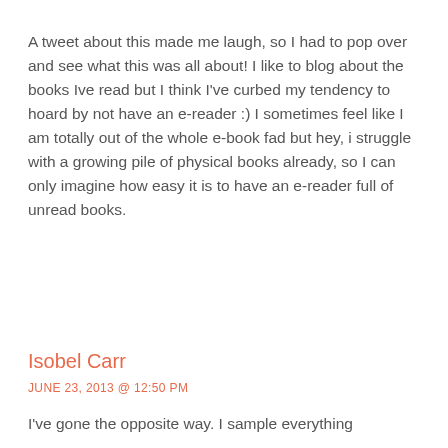A tweet about this made me laugh, so I had to pop over and see what this was all about! I like to blog about the books Ive read but I think I've curbed my tendency to hoard by not have an e-reader :) I sometimes feel like I am totally out of the whole e-book fad but hey, i struggle with a growing pile of physical books already, so I can only imagine how easy it is to have an e-reader full of unread books.
Isobel Carr
JUNE 23, 2013 @ 12:50 PM
I've gone the opposite way. I sample everything